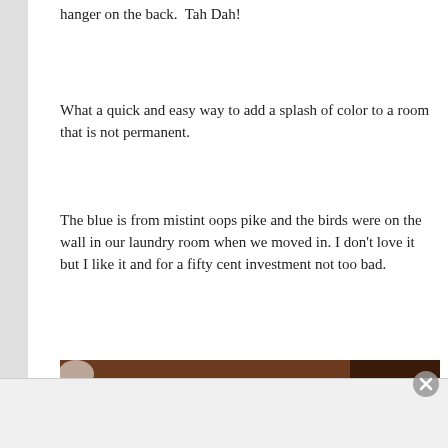hanger on the back.  Tah Dah!
What a quick and easy way to add a splash of color to a room that is not permanent.
The blue is from mistint oops pike and the birds were on the wall in our laundry room when we moved in. I don't love it but I like it and for a fifty cent investment not too bad.
[Figure (photo): Photo of a yellow frame with decorative metal hooks on a wooden surface, with a grey frame partially visible on the right.]
Advertisements
Professionally designed sites in less than a week